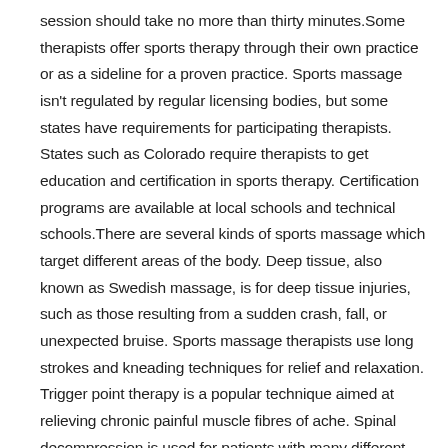session should take no more than thirty minutes.Some therapists offer sports therapy through their own practice or as a sideline for a proven practice. Sports massage isn't regulated by regular licensing bodies, but some states have requirements for participating therapists. States such as Colorado require therapists to get education and certification in sports therapy. Certification programs are available at local schools and technical schools.There are several kinds of sports massage which target different areas of the body. Deep tissue, also known as Swedish massage, is for deep tissue injuries, such as those resulting from a sudden crash, fall, or unexpected bruise. Sports massage therapists use long strokes and kneading techniques for relief and relaxation. Trigger point therapy is a popular technique aimed at relieving chronic painful muscle fibres of ache. Spinal decompression is used for patients with many different spinal problems, including disc degeneration. This technique is aimed at relieving stiffness and restoring freedom.Although some folks feel uncomfortable visiting a licensed sports massage therapist, they may prove useful to some. The